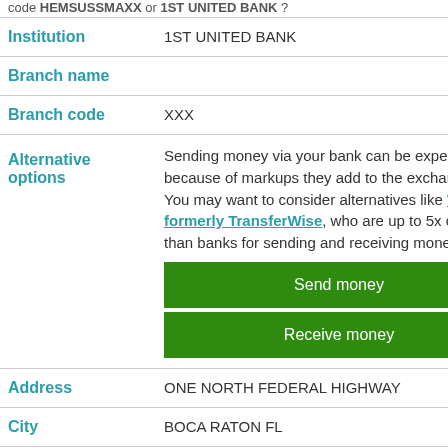code HEMSUSSMAXX or 1ST UNITED BANK ?
| Institution | 1ST UNITED BANK |
| Branch name |  |
| Branch code | XXX |
| Alternative options | Sending money via your bank can be expensive because of markups they add to the exchange rate. You may want to consider alternatives like Wise, formerly TransferWise, who are up to 5x cheaper than banks for sending and receiving money abroad. [Send money] [Receive money] |
| Address | ONE NORTH FEDERAL HIGHWAY |
| City | BOCA RATON FL |